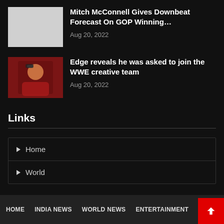[Figure (photo): Gray placeholder thumbnail for McConnell news article]
Mitch McConnell Gives Downbeat Forecast On GOP Winning…
Aug 20, 2022
[Figure (photo): Photo of Edge (WWE wrestler) in red jacket with sunglasses at an event]
Edge reveals he was asked to join the WWE creative team
Aug 20, 2022
Links
Home
World
HOME   INDIA NEWS   WORLD NEWS   ENTERTAINMENT